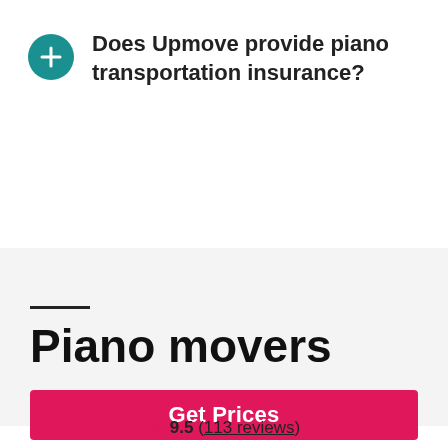Does Upmove provide piano transportation insurance?
Piano movers
Get Prices
9.5 (113 reviews)